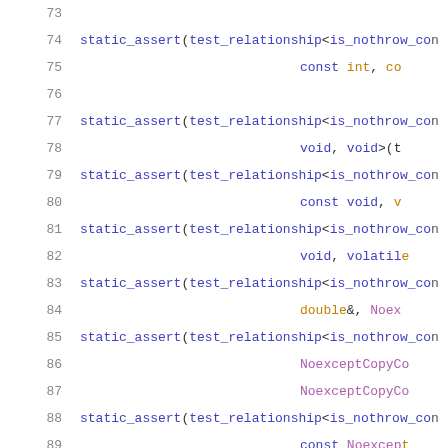Code listing lines 73-93 showing static_assert test_relationship is_nothrow_con... calls with various type parameters